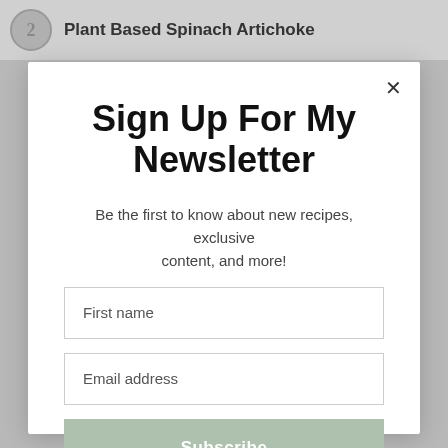Plant Based Spinach Artichoke
Sign Up For My Newsletter
Be the first to know about new recipes, exclusive content, and more!
First name
Email address
Subscribe